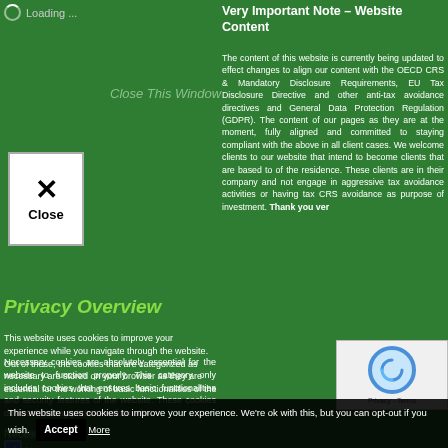Loading ...
Close This Window
[Figure (other): Close button with X icon and 'Close' label]
Privacy Overview
Very Important Note – Website Content
The content of this website is currently being updated to effect changes to align our content with the OECD CRS & Mandatory Disclosure Requirements, EU Tax Disclosure Directive and other anti-tax avoidance directives and General Data Protection Regulation (GDPR). The content of our pages as they are at the moment, fully aligned and committed to staying compliant with the above in all client cases. We welcome clients to our website that intend to become clients that are based to of the residence. These clients are in their company and not engage in aggressive tax avoidance activities or having tax CRS avoidance as purpose of investment.
This website uses cookies to improve your experience while you navigate through the website. Out of these, the cookies that are categorized as necessary are stored on your browser as they are essential for the working of basic functionalities of the website.
Necessary
Necessary
Always Enabled
Necessary cookies are absolutely essential for the website to function properly. This category only includes cookies that ensures basic functionalities and security features of the website. These cookies do not store any personal information
Non-necessary
Non-necessary
This website uses cookies to improve your experience. We're ok with this, but you can opt-out if you wish. Accept More
[Figure (other): reCAPTCHA widget with circular logo and Privacy - Terms text]